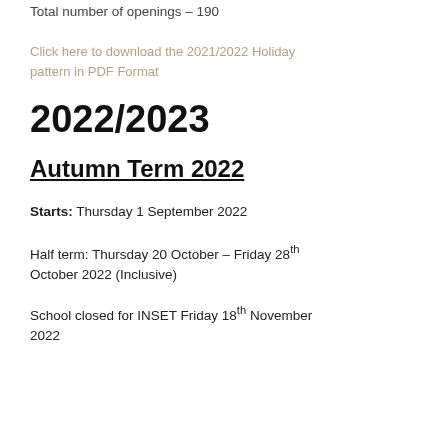Total number of openings – 190
Click here to download the 2021/2022 Holiday pattern in PDF Format
2022/2023
Autumn Term 2022
Starts: Thursday 1 September 2022
Half term: Thursday 20 October – Friday 28th October 2022 (Inclusive)
School closed for INSET Friday 18th November 2022